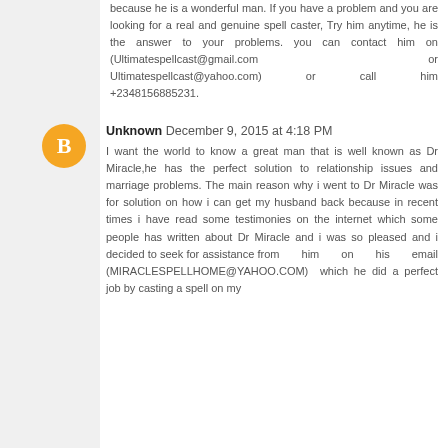because he is a wonderful man. If you have a problem and you are looking for a real and genuine spell caster, Try him anytime, he is the answer to your problems. you can contact him on (Ultimatespellcast@gmail.com or Ultimatespellcast@yahoo.com) or call him +2348156885231.
Unknown  December 9, 2015 at 4:18 PM
I want the world to know a great man that is well known as Dr Miracle,he has the perfect solution to relationship issues and marriage problems. The main reason why i went to Dr Miracle was for solution on how i can get my husband back because in recent times i have read some testimonies on the internet which some people has written about Dr Miracle and i was so pleased and i decided to seek for assistance from him on his email (MIRACLESPELLHOME@YAHOO.COM) which he did a perfect job by casting a spell on my